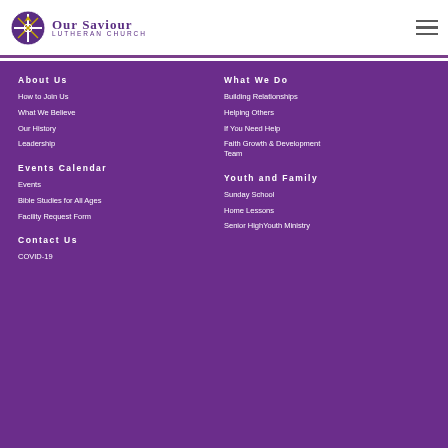Our Saviour Lutheran Church
About Us
How to Join Us
What We Believe
Our History
Leadership
What We Do
Building Relationships
Helping Others
If You Need Help
Faith Growth & Development Team
Events Calendar
Events
Bible Studies for All Ages
Facility Request Form
Youth and Family
Sunday School
Home Lessons
Senior HighYouth Ministry
Contact Us
COVID-19